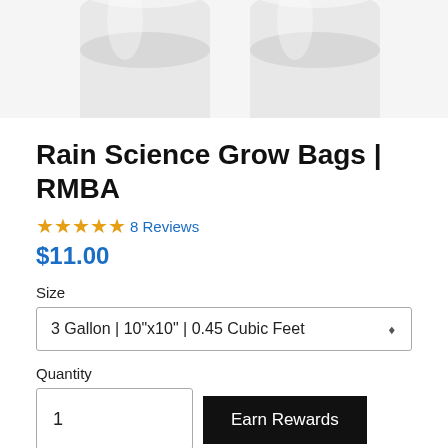[Figure (photo): Two white cylindrical grow bags/containers photographed against a white background, partially cropped at top of image.]
Rain Science Grow Bags | RMBA
★★★★★ 8 Reviews
$11.00
Size
3 Gallon | 10"x10" | 0.45 Cubic Feet
Quantity
1
Earn Rewards